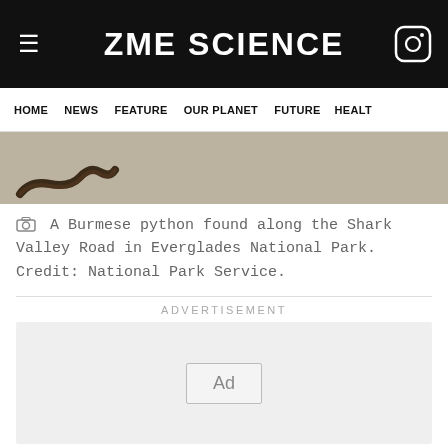ZME SCIENCE
HOME  NEWS  FEATURE  OUR PLANET  FUTURE  HEALT
[Figure (photo): A Burmese python found along the Shark Valley Road in Everglades National Park. Partial view of a snake tail on a gray surface.]
A Burmese python found along the Shark Valley Road in Everglades National Park. Credit: National Park Service.
ADVERTISEMENT
[Figure (other): Advertisement placeholder box with 'Ad' label in center.]